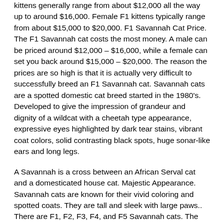kittens generally range from about $12,000 all the way up to around $16,000. Female F1 kittens typically range from about $15,000 to $20,000. F1 Savannah Cat Price. The F1 Savannah cat costs the most money. A male can be priced around $12,000 – $16,000, while a female can set you back around $15,000 – $20,000. The reason the prices are so high is that it is actually very difficult to successfully breed an F1 Savannah cat. Savannah cats are a spotted domestic cat breed started in the 1980's. Developed to give the impression of grandeur and dignity of a wildcat with a cheetah type appearance, expressive eyes highlighted by dark tear stains, vibrant coat colors, solid contrasting black spots, huge sonar-like ears and long legs.
A Savannah is a cross between an African Serval cat and a domesticated house cat. Majestic Appearance. Savannah cats are known for their vivid coloring and spotted coats. They are tall and sleek with large paws.. There are F1, F2, F3, F4, and F5 Savannah cats. The categories depend on what percentage of African Serval the cats are. Generation Male Pet* Male Breeder* Female Pet* Female Breeder* F1 Savannah Cats: $10,000 – $15,000: N/A F1 males not fertile: $10,000 – $15,000: $15,000 – $18,000 Savannah Kittens For Sale. Savannah Kittens Available. Serval Kittens for sale. We have Beautiful Exotic Savannah Kittens for sale! F1 Savannah Kittens, F2 Savannah Kitttens,